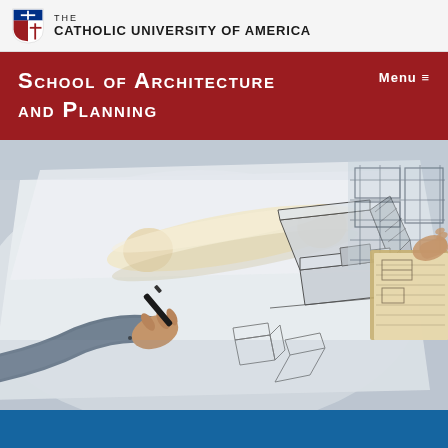THE CATHOLIC UNIVERSITY OF AMERICA
School of Architecture and Planning
MENU ≡
[Figure (photo): A person drawing architectural sketches on paper with a black marker. A roll of tracing paper and architectural drawings of a modern building are spread on a desk. Another person's hands with a sketchbook are visible in the upper right corner.]